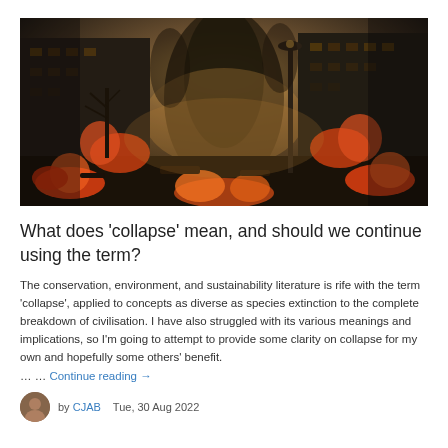[Figure (photo): Dramatic apocalyptic scene of a city street engulfed in fire and smoke, with burning buildings on both sides, a lamppost in the foreground, and dark smoke filling the sky — depicted in dark, desaturated tones with orange fire.]
What does ‘collapse’ mean, and should we continue using the term?
The conservation, environment, and sustainability literature is rife with the term ‘collapse’, applied to concepts as diverse as species extinction to the complete breakdown of civilisation. I have also struggled with its various meanings and implications, so I’m going to attempt to provide some clarity on collapse for my own and hopefully some others’ benefit.
… … Continue reading →
by CJAB   Tue, 30 Aug 2022